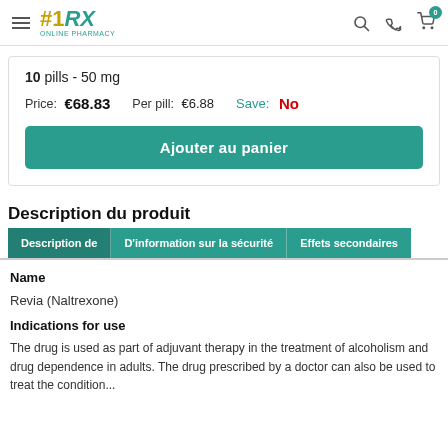#1RX ONLINE PHARMACY
10 pills - 50 mg
Price: €68.83   Per pill: €6.88   Save: No
Ajouter au panier
Description du produit
Description de | D'information sur la sécurité | Effets secondaires
Name
Revia (Naltrexone)
Indications for use
The drug is used as part of adjuvant therapy in the treatment of alcoholism and drug dependence in adults. The drug prescribed by a doctor can also be used to treat the condition...